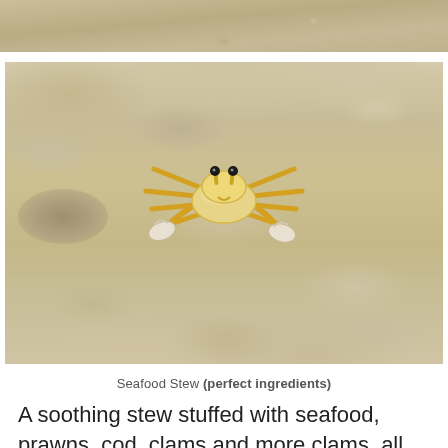[Figure (photo): Top portion of a sandy beach texture — cropped partial photo showing light beige/tan sand grains up close.]
[Figure (photo): A yellow ghost crab with dark eyes on stalks standing on white beach sand, viewed from the front. The crab has orange-yellow legs spread wide. There is a hole in the sand to the left. Sandy mounds surround it.]
Seafood Stew (perfect ingredients)
A soothing stew stuffed with seafood, prawns, cod, clams and more clams, all simmering in a rich